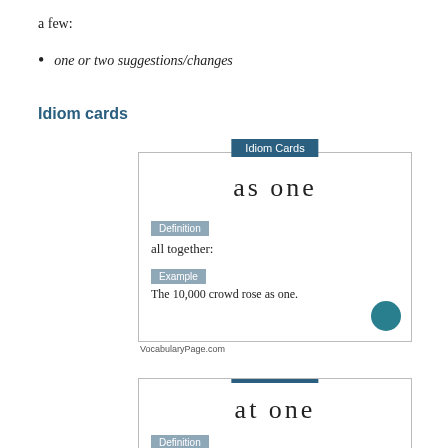a few:
one or two suggestions/changes
Idiom cards
[Figure (illustration): Idiom card for 'as one' showing definition 'all together:' and example 'The 10,000 crowd rose as one.' with VocabularyPage.com logo]
VocabularyPage.com
[Figure (illustration): Idiom card for 'at one' showing partial Definition label at bottom]